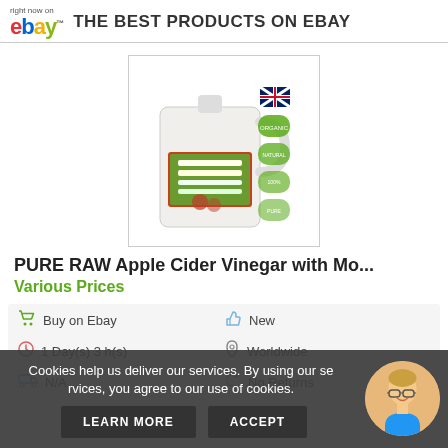right now on eBay™ THE BEST PRODUCTS ON EBAY
[Figure (photo): Product image of a large white plastic jug of PURE RAW Apple Cider Vinegar with Mother, with UK flag and green certification badges on the right side.]
PURE RAW Apple Cider Vinegar with Mo...
Various Prices
| Buy on Ebay | New |
| 1 Day(s) 3 h(s) | Worldwide |
| N/A | No Returns |
Cookies help us deliver our services. By using our services, you agree to our use of cookies.
LEARN MORE
ACCEPT